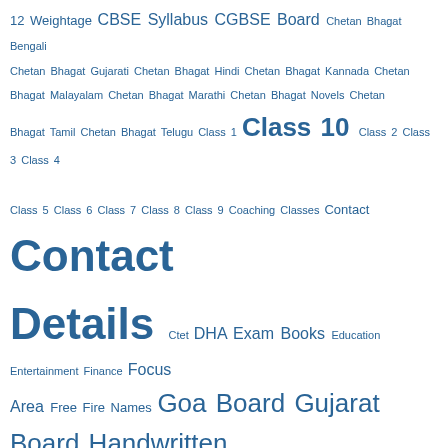[Figure (other): Tag cloud of educational and content category tags in varying font sizes, all in blue color on white background. Tags include: 12 Weightage, CBSE Syllabus, CGBSE Board, Chetan Bhagat Bengali, Chetan Bhagat Gujarati, Chetan Bhagat Hindi, Chetan Bhagat Kannada, Chetan Bhagat Malayalam, Chetan Bhagat Marathi, Chetan Bhagat Novels, Chetan Bhagat Tamil, Chetan Bhagat Telugu, Class 1, Class 10, Class 2, Class 3, Class 4, Class 5, Class 6, Class 7, Class 8, Class 9, Coaching Classes, Contact, Contact Details, Ctet, DHA Exam Books, Education, Entertainment, Finance, Focus Area, Free Fire Names, Goa Board, Gujarat Board, Handwritten Notes, Haryana Board, Hospital Contact Details, HP Board, HSCAP Application Form, hsslive, hsslive maths, HSSLVE Syllabus, iExamS, Improvement, information, J&K Board, James Patterson Novels, Jharkhand Board, Kannada Novels, Karnataka, Kerala Syllabus, Kerala Syllabus 6th, Kerala Syllabus 7th, Kerala Syllabus 8th, Kerala Syllabus 9th, Kite Victers, Lifestyle, Lucent, Lyrics, Maharashtra Board, Malayalam Novels, Manipur Board, Map, Marathi Novels, Measurement, Meghalaya Board, mer, Merit List, Mizoram Board, ML Aggarwal Class 10 Solutions, ML Aggarwal Class 11 Solutions, ML Aggarwal Class 12 Solutions, ML Aggarwal Class 6 Solutions, ML Aggarwal Class 7 Solutions, ML Aggarwal Class 8 Solutions, ML Aggarwal Class 9 Solutions, MP Board, Nagaland Board, NCERT, NEET Exam, Nora Roberts Novels, Novels, Odisha Board, Others, Padasalai, Paragraph, PDF Books, Percentage Calculator, Phones, Plus One Accountancy Chapters, Plus]